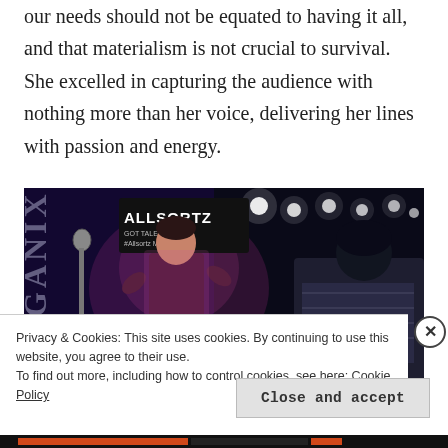our needs should not be equated to having it all, and that materialism is not crucial to survival. She excelled in capturing the audience with nothing more than her voice, delivering her lines with passion and energy.
[Figure (photo): Stage performance photo showing a performer singing at a microphone under purple/blue stage lighting, with 'ALLSORTZ' banner visible and audience member in foreground right. 'ORGANIX' text visible on left side.]
Privacy & Cookies: This site uses cookies. By continuing to use this website, you agree to their use. To find out more, including how to control cookies, see here: Cookie Policy
Close and accept